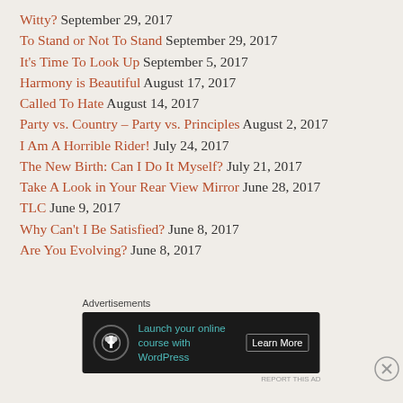Witty? September 29, 2017
To Stand or Not To Stand September 29, 2017
It's Time To Look Up September 5, 2017
Harmony is Beautiful August 17, 2017
Called To Hate August 14, 2017
Party vs. Country – Party vs. Principles August 2, 2017
I Am A Horrible Rider! July 24, 2017
The New Birth: Can I Do It Myself? July 21, 2017
Take A Look in Your Rear View Mirror June 28, 2017
TLC June 9, 2017
Why Can't I Be Satisfied? June 8, 2017
Are You Evolving? June 8, 2017
Advertisements
[Figure (screenshot): Advertisement banner: Launch your online course with WordPress. Learn More button. Dark background with teal text and a circular tree icon.]